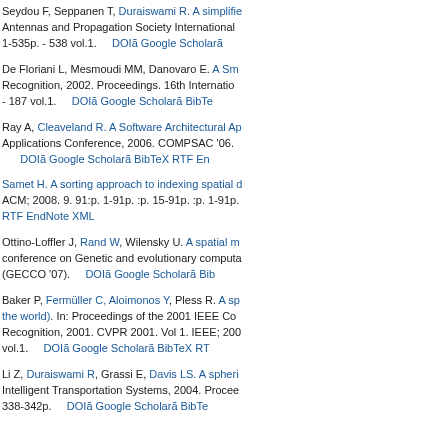Seydou F, Seppanen T, Duraiswami R. A simplified... Antennas and Propagation Society International... 1-535p. - 538 vol.1. DOI Google Scholar
De Floriani L, Mesmoudi MM, Danovaro E. A Sm... Recognition, 2002. Proceedings. 16th International... - 187 vol.1. DOI Google Scholar BibTe...
Ray A, Cleaveland R. A Software Architectural Ap... Applications Conference, 2006. COMPSAC '06. ... DOI Google Scholar BibTeX RTF En...
Samet H. A sorting approach to indexing spatial d... ACM; 2008. 9. 91:p. 1-91p. :p. 15-91p. :p. 1-91p. RTF EndNote XML
Ottino-Loffler J, Rand W, Wilensky U. A spatial m... conference on Genetic and evolutionary computa... (GECCO '07). DOI Google Scholar Bib...
Baker P, Fermüller C, Aloimonos Y, Pless R. A sp... the world). In: Proceedings of the 2001 IEEE Co... Recognition, 2001. CVPR 2001. Vol 1. IEEE; 200... vol.1. DOI Google Scholar BibTeX RT...
Li Z, Duraiswami R, Grassi E, Davis LS. A spheri... Intelligent Transportation Systems, 2004. Procee... 338-342p. DOI Google Scholar BibTe...